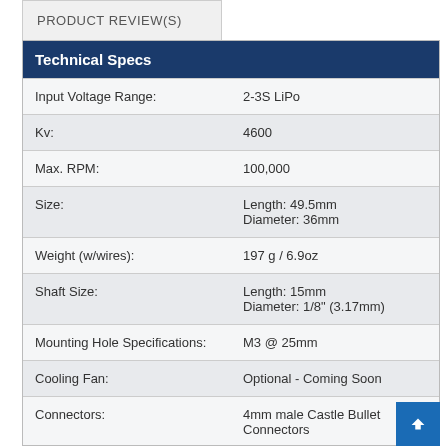PRODUCT REVIEW(S)
| Technical Specs |  |
| --- | --- |
| Input Voltage Range: | 2-3S LiPo |
| Kv: | 4600 |
| Max. RPM: | 100,000 |
| Size: | Length: 49.5mm
Diameter: 36mm |
| Weight (w/wires): | 197 g / 6.9oz |
| Shaft Size: | Length: 15mm
Diameter: 1/8" (3.17mm) |
| Mounting Hole Specifications: | M3 @ 25mm |
| Cooling Fan: | Optional - Coming Soon |
| Connectors: | 4mm male Castle Bullet Connectors |
| Items Needed |  |